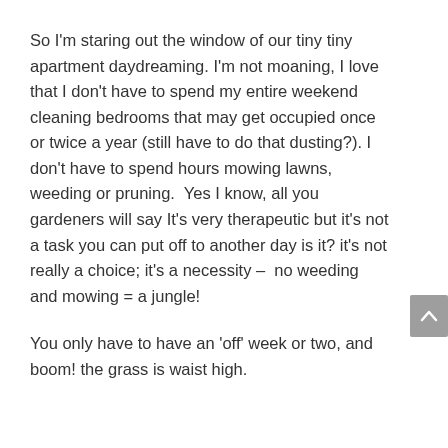So I'm staring out the window of our tiny tiny apartment daydreaming. I'm not moaning, I love that I don't have to spend my entire weekend cleaning bedrooms that may get occupied once or twice a year (still have to do that dusting?). I don't have to spend hours mowing lawns, weeding or pruning.  Yes I know, all you gardeners will say It's very therapeutic but it's not a task you can put off to another day is it? it's not really a choice; it's a necessity –  no weeding and mowing = a jungle!
You only have to have an 'off' week or two, and boom! the grass is waist high.